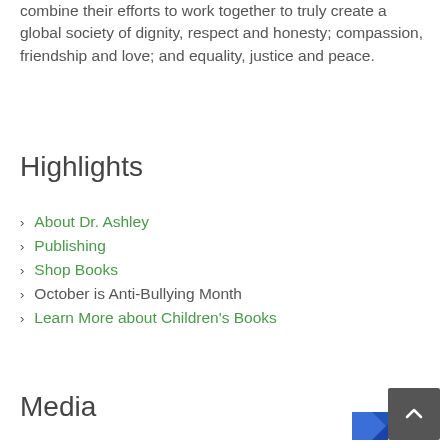combine their efforts to work together to truly create a global society of dignity, respect and honesty; compassion, friendship and love; and equality, justice and peace.
Highlights
About Dr. Ashley
Publishing
Shop Books
October is Anti-Bullying Month
Learn More about Children's Books
Media